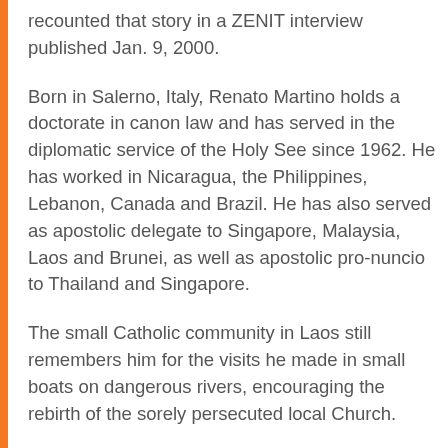recounted that story in a ZENIT interview published Jan. 9, 2000.
Born in Salerno, Italy, Renato Martino holds a doctorate in canon law and has served in the diplomatic service of the Holy See since 1962. He has worked in Nicaragua, the Philippines, Lebanon, Canada and Brazil. He has also served as apostolic delegate to Singapore, Malaysia, Laos and Brunei, as well as apostolic pro-nuncio to Thailand and Singapore.
The small Catholic community in Laos still remembers him for the visits he made in small boats on dangerous rivers, encouraging the rebirth of the sorely persecuted local Church.
The archbishop has received four honorary